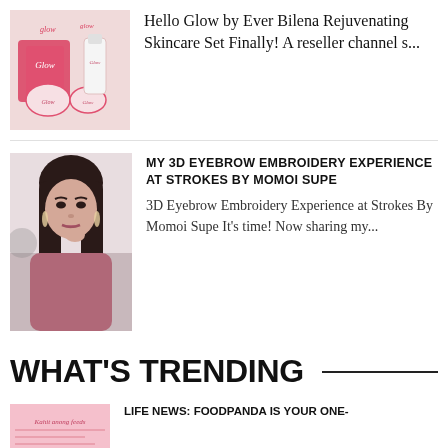[Figure (photo): Glow by Ever Bilena skincare product set with boxes and jars on pink/red background]
Hello Glow by Ever Bilena Rejuvenating Skincare Set Finally! A reseller channel s...
[Figure (photo): Young Asian woman with long dark hair wearing pink/mauve top, posing with hand near chin]
MY 3D EYEBROW EMBROIDERY EXPERIENCE AT STROKES BY MOMOI SUPE
3D Eyebrow Embroidery Experience at Strokes By Momoi Supe It's time! Now sharing my...
WHAT'S TRENDING
[Figure (photo): Partial thumbnail image with pink background and text]
LIFE NEWS: FOODPANDA IS YOUR ONE-